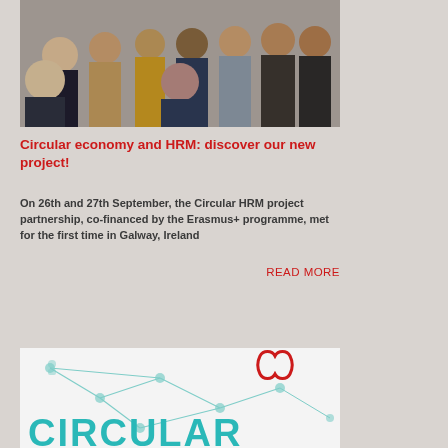[Figure (photo): Group photo of approximately 12 people standing together outdoors, mixed genders, various casual and business-casual attire]
Circular economy and HRM: discover our new project!
On 26th and 27th September, the Circular HRM project partnership, co-financed by the Erasmus+ programme, met for the first time in Galway, Ireland
READ MORE
[Figure (logo): Circular HRM project logo with teal network/nodes graphic and red infinity-like symbol, with large teal text reading CIRCULAR]